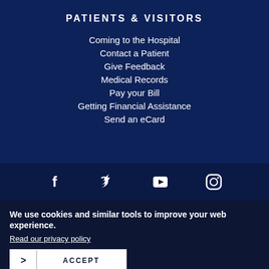PATIENTS & VISITORS
Coming to the Hospital
Contact a Patient
Give Feedback
Medical Records
Pay your Bill
Getting Financial Assistance
Send an eCard
[Figure (other): Social media icons: Facebook, Twitter, YouTube, Instagram]
We use cookies and similar tools to improve your web experience.
Read our privacy policy
ACCEPT